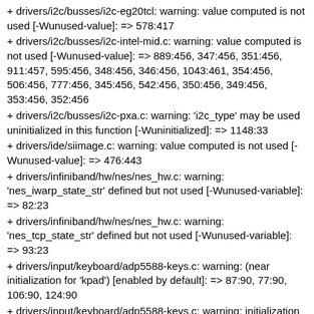+ drivers/i2c/busses/i2c-eg20tcl: warning: value computed is not used [-Wunused-value]: => 578:417
+ drivers/i2c/busses/i2c-intel-mid.c: warning: value computed is not used [-Wunused-value]: => 889:456, 347:456, 351:456, 911:457, 595:456, 348:456, 346:456, 1043:461, 354:456, 506:456, 777:456, 345:456, 542:456, 350:456, 349:456, 353:456, 352:456
+ drivers/i2c/busses/i2c-pxa.c: warning: 'i2c_type' may be used uninitialized in this function [-Wuninitialized]: => 1148:33
+ drivers/ide/siimage.c: warning: value computed is not used [-Wunused-value]: => 476:443
+ drivers/infiniband/hw/nes/nes_hw.c: warning: 'nes_iwarp_state_str' defined but not used [-Wunused-variable]: => 82:23
+ drivers/infiniband/hw/nes/nes_hw.c: warning: 'nes_tcp_state_str' defined but not used [-Wunused-variable]: => 93:23
+ drivers/input/keyboard/adp5588-keys.c: warning: (near initialization for 'kpad') [enabled by default]: => 87:90, 77:90, 106:90, 124:90
+ drivers/input/keyboard/adp5588-keys.c: warning: initialization from incompatible pointer type [enabled by default]: => 87:90, 77:90, 106:90, 124:90
+ drivers/input/keyboard/adp5589-keys.c: warning: (near initialization for 'kpad') [enabled by default]: => 403:90, 442:90, 391:90, 422:90
+ drivers/input/keyboard/adp5589-keys.c: warning: initialization from incompatible pointer type [enabled by default]: => 403:90,